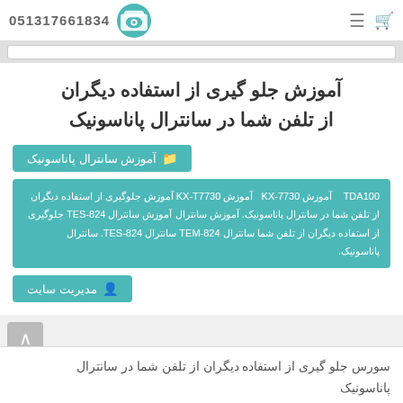051317661834 [logo]
آموزش جلو گیری از استفاده دیگران از تلفن شما در سانترال پاناسونیک
آموزش سانترال پاناسونیک
TDA100   آموزش KX-7730   آموزش KX-T7730 آموزش جلو گیری از استفاده دیگران از تلفن شما در سانترال پاناسونیک. آموزش سانترال آموزش سانترال TES-824 جلو گیری از استفاده دیگران از تلفن شما سانترال TEM-824 سانترال TES-824. سانترال پاناسونیک.
مدیریت سایت
سورس جلو گیری از استفاده دیگران از تلفن شما در سانترال پاناسونیک